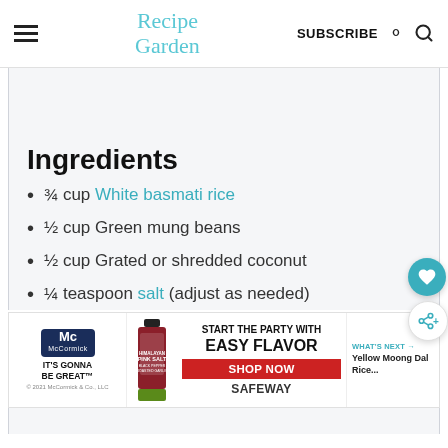Recipe Garden | SUBSCRIBE
Ingredients
¾ cup White basmati rice
½ cup Green mung beans
½ cup Grated or shredded coconut
¼ teaspoon salt (adjust as needed)
[Figure (illustration): McCormick advertisement: Start the party with Easy Flavor, Shop Now at Safeway. What's Next: Yellow Moong Dal Rice...]